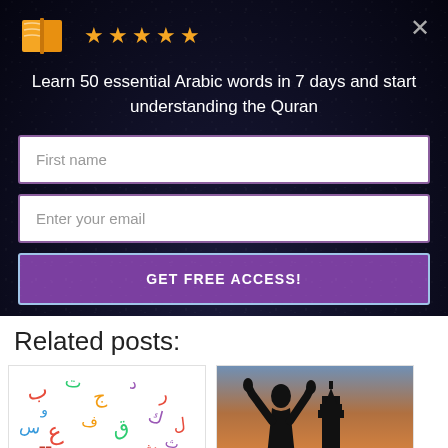[Figure (logo): Orange book icon with five gold stars rating, on dark starry background]
Learn 50 essential Arabic words in 7 days and start understanding the Quran
First name
Enter your email
GET FREE ACCESS!
Related posts:
[Figure (illustration): Colorful Arabic letters and calligraphy on white background]
Different Approaches to Learning Arabic
[Figure (photo): Silhouette of a person praying with hands raised against a sunset sky with a mosque minaret]
3 Ways to Improve Your Behavior as a Muslim